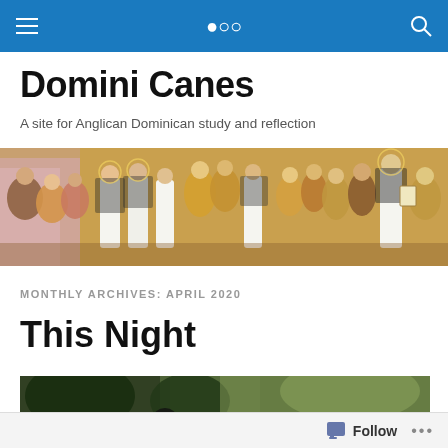Domini Canes — site navigation bar
Domini Canes
A site for Anglican Dominican study and reflection
[Figure (illustration): Wide horizontal banner showing a medieval fresco or painting with many robed figures including Dominican friars and saints]
MONTHLY ARCHIVES: APRIL 2020
This Night
[Figure (photo): Partial outdoor photo showing trees and dark landscape]
Follow  •••